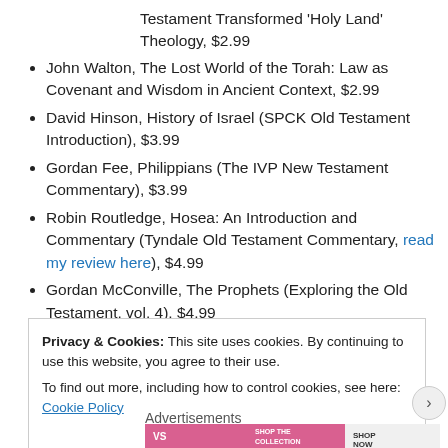Testament Transformed 'Holy Land' Theology, $2.99
John Walton, The Lost World of the Torah: Law as Covenant and Wisdom in Ancient Context, $2.99
David Hinson, History of Israel (SPCK Old Testament Introduction), $3.99
Gordan Fee, Philippians (The IVP New Testament Commentary), $3.99
Robin Routledge, Hosea: An Introduction and Commentary (Tyndale Old Testament Commentary, read my review here), $4.99
Gordan McConville, The Prophets (Exploring the Old Testament, vol. 4), $4.99
Privacy & Cookies: This site uses cookies. By continuing to use this website, you agree to their use.
To find out more, including how to control cookies, see here: Cookie Policy
Close and accept
Advertisements